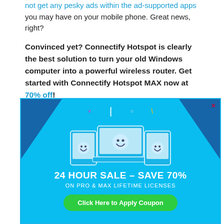not get any pesky ads within the ad-supported apps you may have on your mobile phone. Great news, right?
Convinced yet? Connectify Hotspot is clearly the best solution to turn your old Windows computer into a powerful wireless router. Get started with Connectify Hotspot MAX now at 70% off!
[Figure (screenshot): A popup advertisement overlay showing a 24 HOUR SALE - SAVE 70% ON PRO & MAX LIFETIME LICENSES with a Click Here to Apply Coupon green button, over a partially visible article with 'You m... in...' bold text and bottom image row of laptops.]